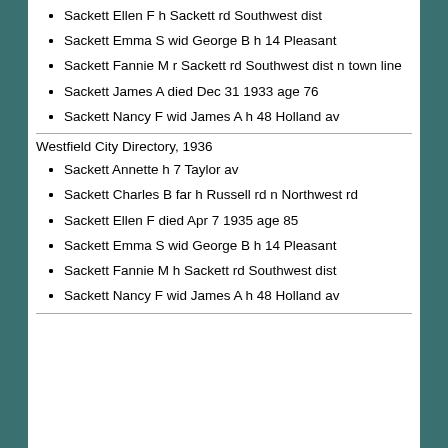Sackett Ellen F h Sackett rd Southwest dist
Sackett Emma S wid George B h 14 Pleasant
Sackett Fannie M r Sackett rd Southwest dist n town line
Sackett James A died Dec 31 1933 age 76
Sackett Nancy F wid James A h 48 Holland av
Westfield City Directory, 1936
Sackett Annette h 7 Taylor av
Sackett Charles B far h Russell rd n Northwest rd
Sackett Ellen F died Apr 7 1935 age 85
Sackett Emma S wid George B h 14 Pleasant
Sackett Fannie M h Sackett rd Southwest dist
Sackett Nancy F wid James A h 48 Holland av